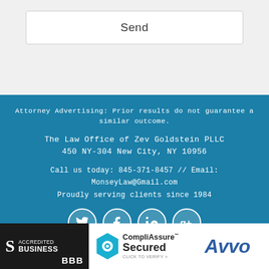Send
Attorney Advertising: Prior results do not guarantee a similar outcome.
The Law Office of Zev Goldstein PLLC
450 NY-304 New City, NY 10956
Call us today: 845-371-8457 // Email:
MonseyLaw@Gmail.com
Proudly serving clients since 1984
[Figure (infographic): Social media icons: Twitter, Facebook, LinkedIn, Google+]
[Figure (logo): BBB Accredited Business badge]
[Figure (logo): CompliAssure Secured badge]
[Figure (logo): Avvo logo]